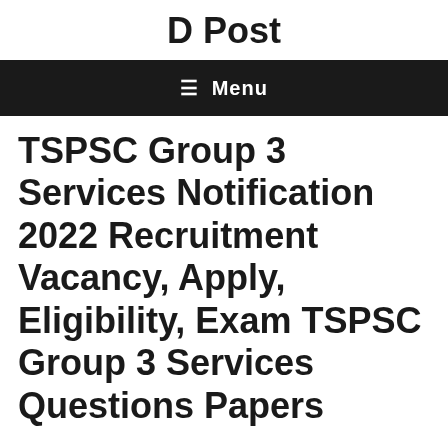D Post
≡ Menu
TSPSC Group 3 Services Notification 2022 Recruitment Vacancy, Apply, Eligibility, Exam TSPSC Group 3 Services Questions Papers